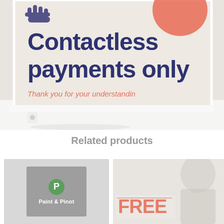[Figure (photo): A close-up photo of a sign on a white stand reading 'Contactless payments only' in bold dark navy text with a coral/salmon accent circle and hand icon at the top, and italic coral text 'Thank you for your understanding' below. The sign sits in a white frame holder.]
Related products
[Figure (photo): Thumbnail image of a Paint & Pinot product with grey background and green circle logo with P.]
[Figure (photo): Thumbnail image of a product with FREE text overlay visible, partial person image in background.]